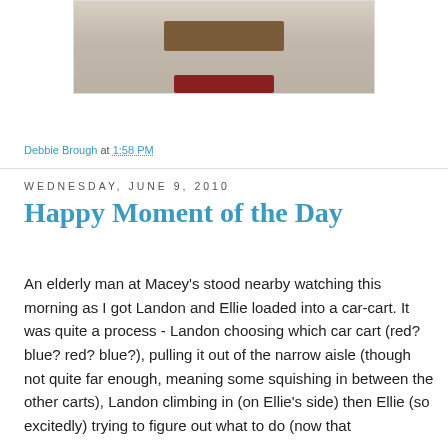[Figure (photo): Partial photo of what appears to be a wooden object or furniture piece on a light surface, cropped at the top of the page]
Debbie Brough at 1:58 PM
Wednesday, June 9, 2010
Happy Moment of the Day
An elderly man at Macey's stood nearby watching this morning as I got Landon and Ellie loaded into a car-cart. It was quite a process - Landon choosing which car cart (red? blue? red? blue?), pulling it out of the narrow aisle (though not quite far enough, meaning some squishing in between the other carts), Landon climbing in (on Ellie's side) then Ellie (so excitedly) trying to figure out what to do (now that